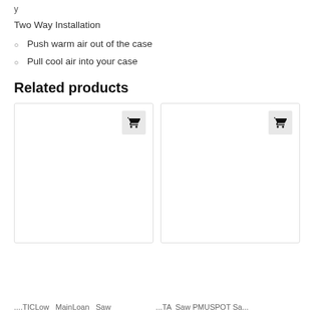y ...
Two Way Installation
Push warm air out of the case
Pull cool air into your case
Related products
[Figure (other): Two product cards with shopping cart buttons]
... TICLow MainLoan Sawa ... ...TA Saw PMUSPOT Sa ...